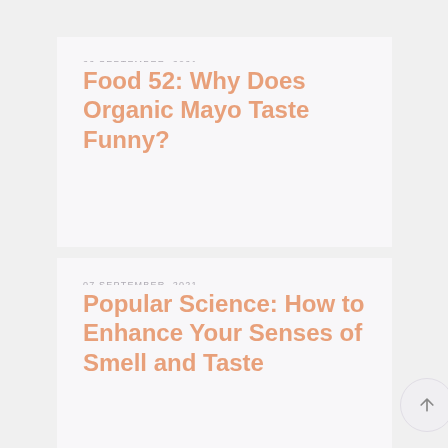22 SEPTEMBER, 2021
Food 52: Why Does Organic Mayo Taste Funny?
07 SEPTEMBER, 2021
Popular Science: How to Enhance Your Senses of Smell and Taste